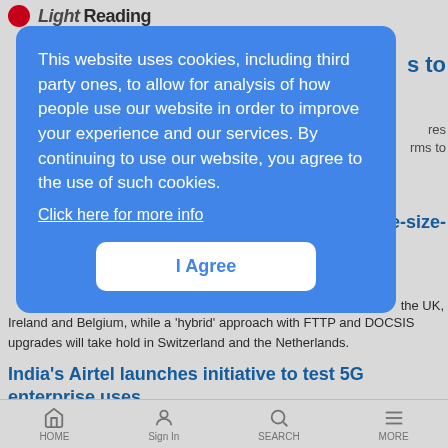Light Reading
This website uses cookies, including third party ones, to allow for analysis of how people use our website in order to improve your experience and our services. By continuing to use our website, you agree to the use of such cookies. Click here for more info
I Agree
Ireland and Belgium, while a 'hybrid' approach with FTTP and DOCSIS upgrades will take hold in Switzerland and the Netherlands.
India's Airtel launches initiative to test 5G enterprise uses
News Analysis | 11/9/2021
India's second-largest service provider, Bharti Airtel, has introduced a
HOME   Sign In   SEARCH   MORE